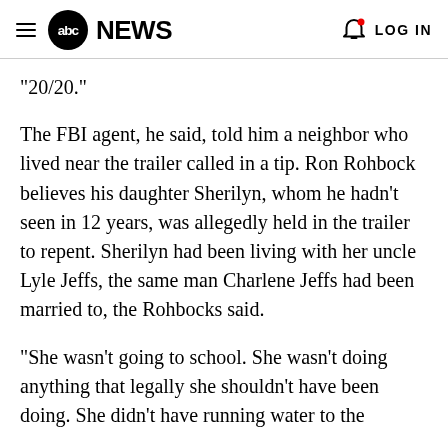abc NEWS  LOG IN
‘20/20.”
The FBI agent, he said, told him a neighbor who lived near the trailer called in a tip. Ron Rohbock believes his daughter Sherilyn, whom he hadn’t seen in 12 years, was allegedly held in the trailer to repent. Sherilyn had been living with her uncle Lyle Jeffs, the same man Charlene Jeffs had been married to, the Rohbocks said.
“She wasn’t going to school. She wasn’t doing anything that legally she shouldn’t have been doing. She didn’t have running water to the